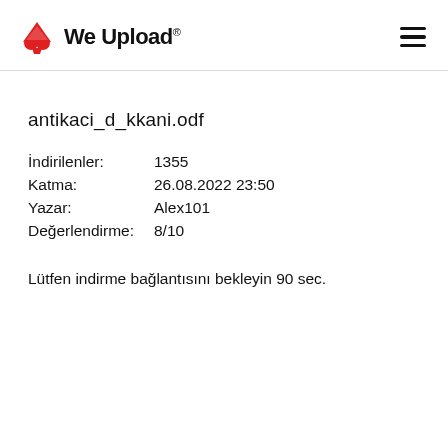We Upload
antikaci_d_kkani.odf
İndirilenler: 1355
Katma: 26.08.2022 23:50
Yazar: Alex101
Değerlendirme: 8/10
Lütfen indirme bağlantısını bekleyin 90 sec.